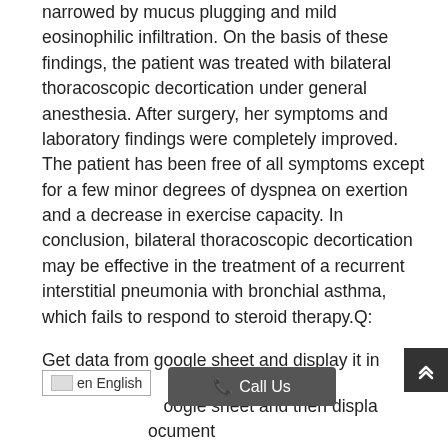narrowed by mucus plugging and mild eosinophilic infiltration. On the basis of these findings, the patient was treated with bilateral thoracoscopic decortication under general anesthesia. After surgery, her symptoms and laboratory findings were completely improved. The patient has been free of all symptoms except for a few minor degrees of dyspnea on exertion and a decrease in exercise capacity. In conclusion, bilateral thoracoscopic decortication may be effective in the treatment of a recurrent interstitial pneumonia with bronchial asthma, which fails to respond to steroid therapy.Q:
Get data from google sheet and display it in google script
en English
Call Us
oogle sheet and then displa… …ocument